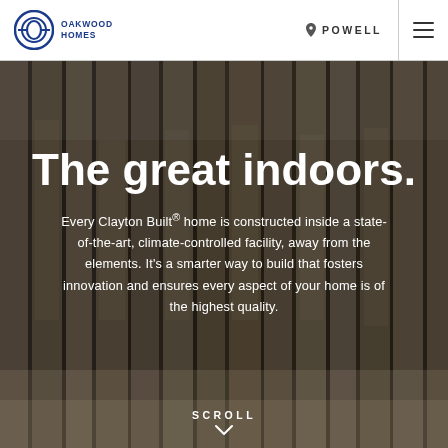OAKWOOD HOMES | POWELL
[Figure (photo): Interior manufacturing facility showing wood-panel wall framing construction with insulation, dim/dark background, viewed from inside a state-of-the-art climate-controlled building facility]
The great indoors.
Every Clayton Built® home is constructed inside a state-of-the-art, climate-controlled facility, away from the elements. It's a smarter way to build that fosters innovation and ensures every aspect of your home is of the highest quality.
SCROLL